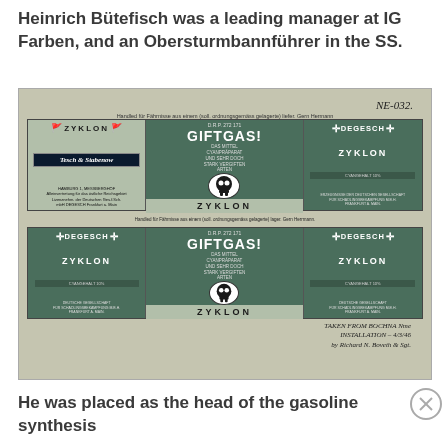Heinrich Bütefisch was a leading manager at IG Farben, and an Obersturmbannführer in the SS.
[Figure (photo): Scanned document showing two Zyklon B poison gas label strips (GIFTGAS / ZYKLON) with DEGESCH and Tesch & Stabenow branding, skull-and-crossbones symbols, handwritten annotation 'NE-032' in upper right, and a handwritten signature/note at bottom right.]
He was placed as the head of the gasoline synthesis